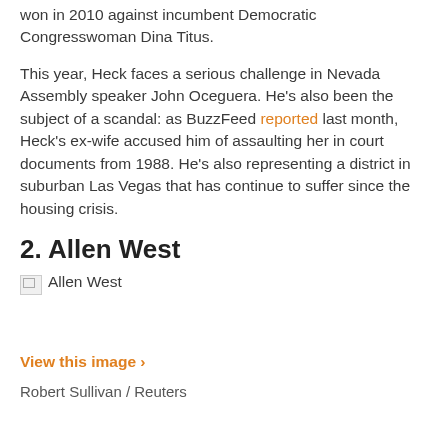won in 2010 against incumbent Democratic Congresswoman Dina Titus.
This year, Heck faces a serious challenge in Nevada Assembly speaker John Oceguera. He's also been the subject of a scandal: as BuzzFeed reported last month, Heck's ex-wife accused him of assaulting her in court documents from 1988. He's also representing a district in suburban Las Vegas that has continue to suffer since the housing crisis.
2. Allen West
[Figure (photo): Allen West photo placeholder (broken image)]
View this image ›
Robert Sullivan / Reuters